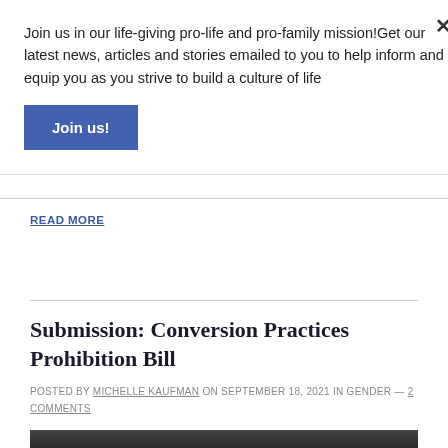Join us in our life-giving pro-life and pro-family mission!Get our latest news, articles and stories emailed to you to help inform and equip you as you strive to build a culture of life
Join us!
READ MORE
Submission: Conversion Practices Prohibition Bill
POSTED BY MICHELLE KAUFMAN ON SEPTEMBER 18, 2021 IN GENDER — 2 COMMENTS
[Figure (photo): Dark photograph at bottom of page, partially visible]